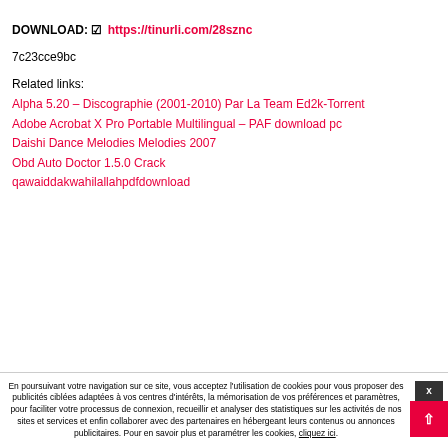DOWNLOAD: ☑ https://tinurli.com/28sznc
7c23cce9bc
Related links:
Alpha 5.20 – Discographie (2001-2010) Par La Team Ed2k-Torrent
Adobe Acrobat X Pro Portable Multilingual – PAF download pc
Daishi Dance Melodies Melodies 2007
Obd Auto Doctor 1.5.0 Crack
qawaiddakwahilallahpdfdownload
En poursuivant votre navigation sur ce site, vous acceptez l'utilisation de cookies pour vous proposer des publicités ciblées adaptées à vos centres d'intérêts, la mémorisation de vos préférences et paramètres, pour faciliter votre processus de connexion, recueillir et analyser des statistiques sur les activités de nos sites et services et enfin collaborer avec des partenaires en hébergeant leurs contenus ou annonces publicitaires. Pour en savoir plus et paramétrer les cookies, cliquez ici.